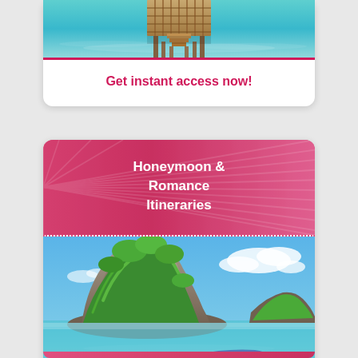[Figure (photo): Overwater bungalow pier/dock over turquoise tropical water, viewed from above — top portion of card, partially cropped]
Get instant access now!
[Figure (photo): Tropical beach scene with a traditional Thai longtail wooden boat on white sandy shore, turquoise water, and large rocky island with lush green vegetation in background under blue sky]
Honeymoon & Romance Itineraries